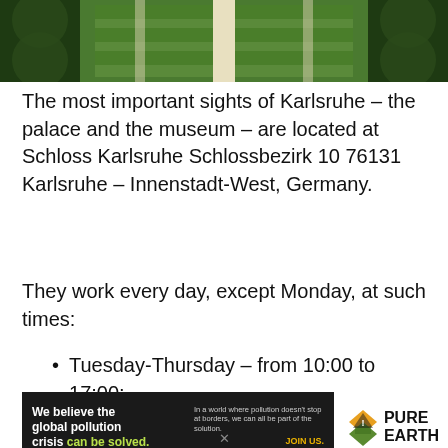[Figure (photo): Aerial view of Karlsruhe palace gardens showing formal green lawns and surrounding forest]
The most important sights of Karlsruhe – the palace and the museum – are located at Schloss Karlsruhe Schlossbezirk 10 76131 Karlsruhe – Innenstadt-West, Germany.
They work every day, except Monday, at such times:
Tuesday-Thursday – from 10:00 to 17:00;
[Figure (infographic): Pure Earth advertisement banner: 'We believe the global pollution crisis can be solved.' with tagline about pollution not stopping at borders and JOIN US call to action, Pure Earth logo on right]